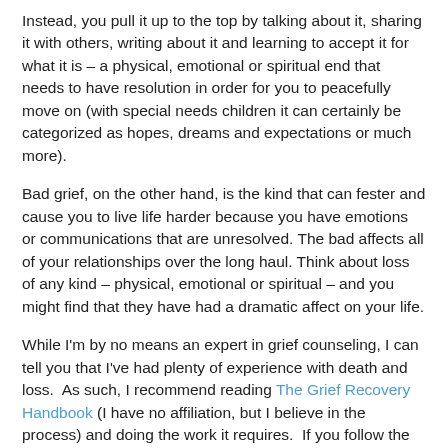Instead, you pull it up to the top by talking about it, sharing it with others, writing about it and learning to accept it for what it is – a physical, emotional or spiritual end that needs to have resolution in order for you to peacefully move on (with special needs children it can certainly be categorized as hopes, dreams and expectations or much more).
Bad grief, on the other hand, is the kind that can fester and cause you to live life harder because you have emotions or communications that are unresolved. The bad affects all of your relationships over the long haul. Think about loss of any kind – physical, emotional or spiritual – and you might find that they have had a dramatic affect on your life.
While I'm by no means an expert in grief counseling, I can tell you that I've had plenty of experience with death and loss.  As such, I recommend reading The Grief Recovery Handbook (I have no affiliation, but I believe in the process) and doing the work it requires.  If you follow the framework, you will start to see a difference in how raising a special needs child is one of grieving on many different levels.